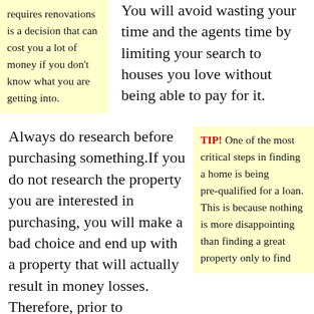requires renovations is a decision that can cost you a lot of money if you don't know what you are getting into.
You will avoid wasting your time and the agents time by limiting your search to houses you love without being able to pay for it.
Always do research before purchasing something.If you do not research the property you are interested in purchasing, you will make a bad choice and end up with a property that will actually result in money losses. Therefore, prior to
TIP! One of the most critical steps in finding a home is being pre-qualified for a loan. This is because nothing is more disappointing than finding a great property only to find